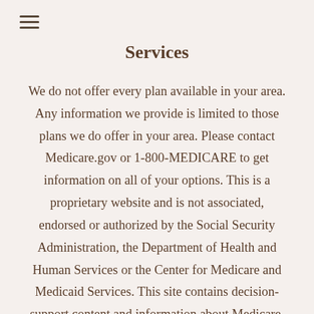≡
Services
We do not offer every plan available in your area. Any information we provide is limited to those plans we do offer in your area. Please contact Medicare.gov or 1-800-MEDICARE to get information on all of your options. This is a proprietary website and is not associated, endorsed or authorized by the Social Security Administration, the Department of Health and Human Services or the Center for Medicare and Medicaid Services. This site contains decision-support content and information about Medicare, services related to Medicare and services for people with Medicare. If you would like to find more information